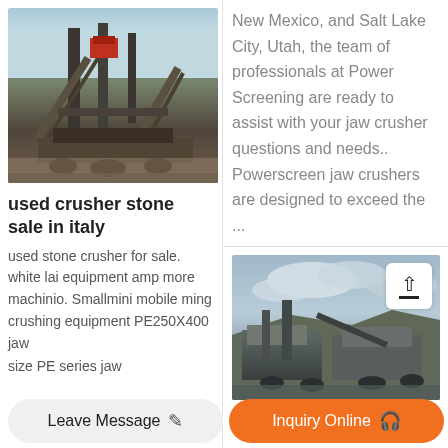[Figure (photo): Industrial stone crusher/screening machine at a mining site with conveyor belts and equipment]
used crusher stone sale in italy
used stone crusher for sale. white lai equipment amp more machinio. Smallmini mobile ming crushing equipment PE250X400 jaw
New Mexico, and Salt Lake City, Utah, the team of professionals at Power Screening are ready to assist with your jaw crusher questions and needs.. Powerscreen jaw crushers are designed to exceed the ...
[Figure (photo): Industrial jaw crusher machine at a quarry site with cloudy sky background]
size PE series jaw
Leave Message   Inquiry Online